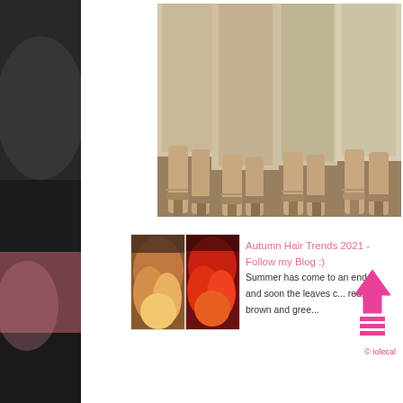[Figure (photo): Left sidebar with blurred dark/pink background, appears to be a partial blurred image]
[Figure (photo): Main photo showing legs and feet of multiple women wearing cream/beige midi skirts and strappy block heel sandals, standing on ground]
[Figure (photo): Small thumbnail images showing autumn hair color examples - ombre warm tones on left, vivid red/orange on right]
Autumn Hair Trends 2021 - Follow my Blog :)
Summer has come to an end and soon the leaves c... red, brown and gree...
[Figure (infographic): Pink upward arrow icon with horizontal lines, iolecal watermark logo]
© iolecal